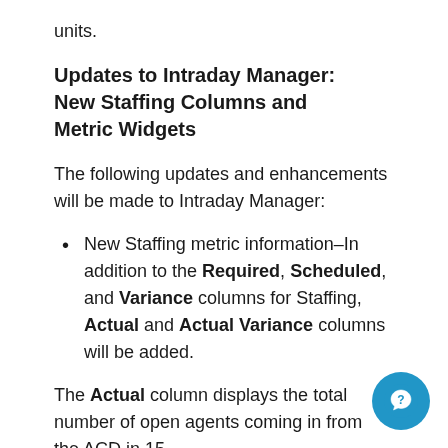units.
Updates to Intraday Manager: New Staffing Columns and Metric Widgets
The following updates and enhancements will be made to Intraday Manager:
New Staffing metric information–In addition to the Required, Scheduled, and Variance columns for Staffing, Actual and Actual Variance columns will be added.
The Actual column displays the total number of open agents coming in from the ACD in 15-